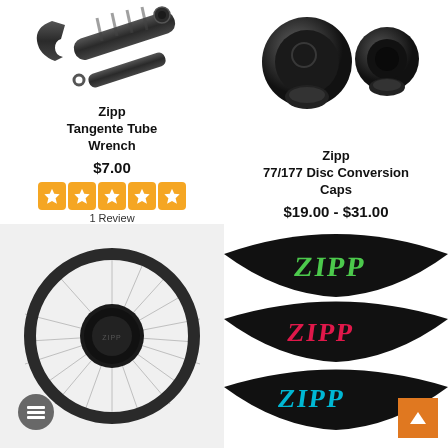[Figure (photo): Zipp Tangente Tube Wrench product photo - black metal wrench tool]
Zipp
Tangente Tube Wrench
$7.00
[Figure (other): Five orange star rating icons]
1 Review
[Figure (photo): Zipp 77/177 Disc Conversion Caps product photo - two black metal end caps]
Zipp
77/177 Disc Conversion Caps
$19.00 - $31.00
[Figure (photo): Zipp wheel product photo - black disc wheel with spokes]
[Figure (photo): Zipp colorful rim tape/decals product photo - green, pink, cyan ZIPP logos on black rims]